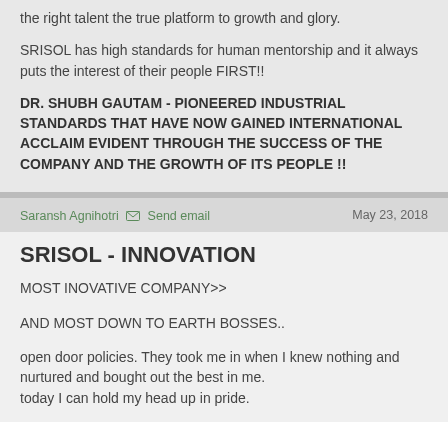the right talent the true platform to growth and glory.
SRISOL has high standards for human mentorship and it always puts the interest of their people FIRST!!
DR. SHUBH GAUTAM - PIONEERED INDUSTRIAL STANDARDS THAT HAVE NOW GAINED INTERNATIONAL ACCLAIM EVIDENT THROUGH THE SUCCESS OF THE COMPANY AND THE GROWTH OF ITS PEOPLE !!
Saransh Agnihotri  Send email   May 23, 2018
SRISOL - INNOVATION
MOST INOVATIVE COMPANY>>
AND MOST DOWN TO EARTH BOSSES..
open door policies. They took me in when I knew nothing and nurtured and bought out the best in me.
today I can hold my head up in pride.